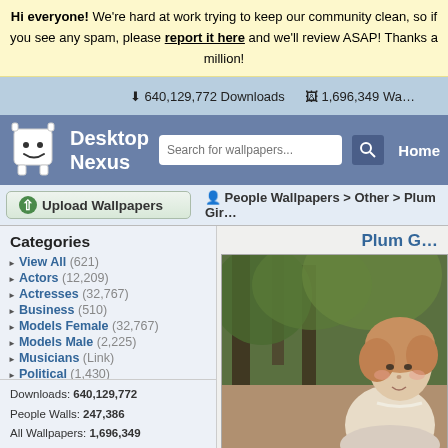Hi everyone! We're hard at work trying to keep our community clean, so if you see any spam, please report it here and we'll review ASAP! Thanks a million!
↓ 640,129,772 Downloads   🖼 1,696,349 Wa...
[Figure (screenshot): Desktop Nexus website header with logo, search bar, and Home navigation button]
Upload Wallpapers
People Wallpapers > Other > Plum Gir...
Categories
View All (621)
Actors (12,209)
Actresses (32,767)
Business (510)
Models Female (32,767)
Models Male (2,225)
Musicians (Link)
Political (1,430)
Sports (Link)
Other (32,767)
Downloads: 640,129,772
People Walls: 247,386
All Wallpapers: 1,696,349
Tag Count: 9,948,936
Plum G...
[Figure (photo): Classical oil painting of a young girl with curly brown hair in a forest setting, wearing a light-colored dress]